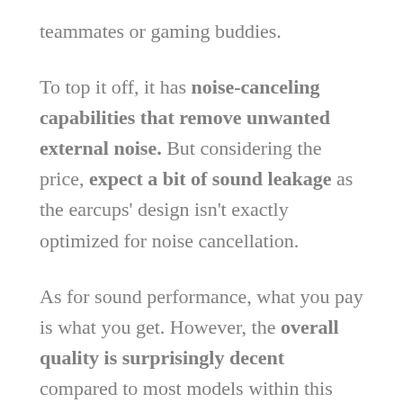teammates or gaming buddies.
To top it off, it has noise-canceling capabilities that remove unwanted external noise. But considering the price, expect a bit of sound leakage as the earcups' design isn't exactly optimized for noise cancellation.
As for sound performance, what you pay is what you get. However, the overall quality is surprisingly decent compared to most models within this price spectrum. It has stereo sound support and enhanced bass that delivers good enough sound clarity to enjoy your favorite competitive titles.